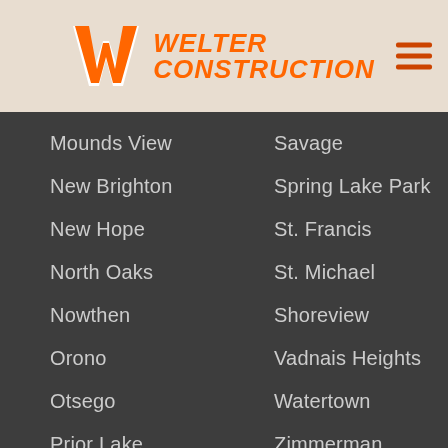[Figure (logo): Welter Construction logo with orange W icon and orange italic text]
Mounds View
Savage
New Brighton
Spring Lake Park
New Hope
St. Francis
North Oaks
St. Michael
Nowthen
Shoreview
Orono
Vadnais Heights
Otsego
Watertown
Prior Lake
Zimmerman
Call For Quote | Fast Quote | Read Reviews